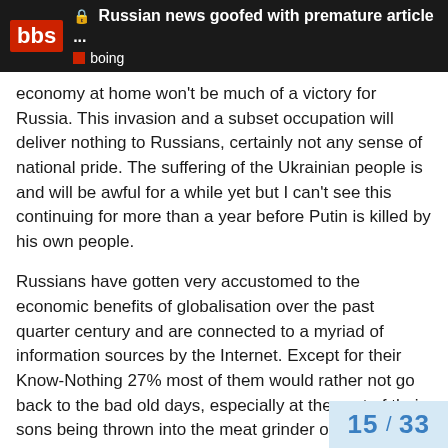Russian news goofed with premature article ... boing
economy at home won't be much of a victory for Russia. This invasion and a subset occupation will deliver nothing to Russians, certainly not any sense of national pride. The suffering of the Ukrainian people is and will be awful for a while yet but I can't see this continuing for more than a year before Putin is killed by his own people.
Russians have gotten very accustomed to the economic benefits of globalisation over the past quarter century and are connected to a myriad of information sources by the Internet. Except for their Know-Nothing 27% most of them would rather not go back to the bad old days, especially at the cost of their sons being thrown into the meat grinder of a war of choice. Putin, while a thug, has also not been able to build up the totalitarian apparatus of terror that Stalin did, so the public can only be cowed into submission for so long.
15 / 33